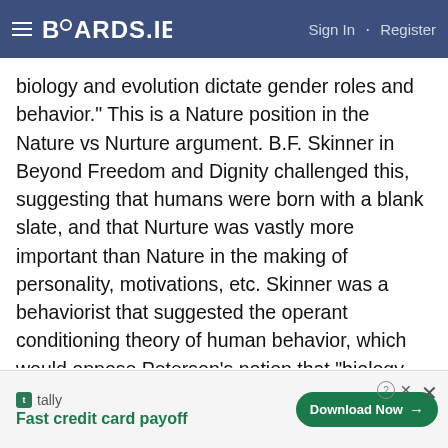BOARDS.IE   Sign In · Register
biology and evolution dictate gender roles and behavior." This is a Nature position in the Nature vs Nurture argument. B.F. Skinner in Beyond Freedom and Dignity challenged this, suggesting that humans were born with a blank slate, and that Nurture was vastly more important than Nature in the making of personality, motivations, etc. Skinner was a behaviorist that suggested the operant conditioning theory of human behavior, which would oppose Peterson's notion that "biology and evolution dictate gender roles and behavior." A middle position was suggested by Hutt, a researcher in the biology of behavior, where both Nature and Nurture contributed to "gender roles and behavior."
[Figure (infographic): Tally app advertisement banner: 'Fast credit card payoff' with a Download Now button]